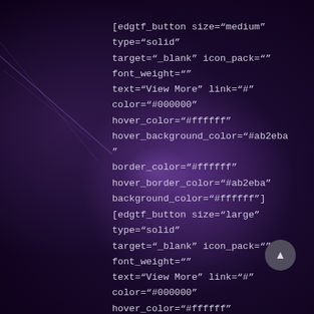[edgtf_button size="medium" type="solid" target="_blank" icon_pack="" font_weight="" text="View More" link="#" color="#000000" hover_color="#ffffff" hover_background_color="#ab2eba" border_color="#ffffff" hover_border_color="#ab2eba" background_color="#ffffff"]
[edgtf_button size="large" type="solid" target="_blank" icon_pack="" font_weight="" text="View More" link="#" color="#000000" hover_color="#ffffff" hover_background_color="#ab2eba" border_color="#ffffff" hover_border_color="#ab2eba" background_color="#ffffff"]